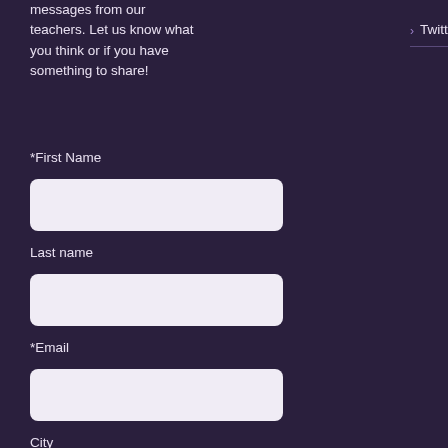messages from our teachers. Let us know what you think or if you have something to share!
Twitter
Portland, Oregon
United Kingdom
*First Name
[Figure (other): Form input field for First Name]
Last name
[Figure (other): Form input field for Last name]
*Email
[Figure (other): Form input field for Email]
City
[Figure (other): Form input field for City with placeholder text 'City']
State/Province
[Figure (other): Form input field for State/Province (partially visible)]